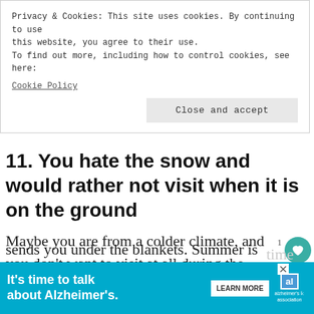Privacy & Cookies: This site uses cookies. By continuing to use this website, you agree to their use.
To find out more, including how to control cookies, see here:
Cookie Policy
11. You hate the snow and would rather not visit when it is on the ground
Maybe you are from a colder climate, and you don't want to visit at all during the winter. Just the thought of 20 degrees sends you under the blankets. Summer is
[Figure (screenshot): Cookie consent banner with Close and accept button, heart icon, share icon, and What's Next promo for The Top 10 Takeaways]
[Figure (infographic): Alzheimer's association advertisement: It's time to talk about Alzheimer's. LEARN MORE button and al logo.]